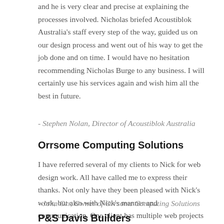and he is very clear and precise at explaining the processes involved. Nicholas briefed Acoustiblok Australia's staff every step of the way, guided us on our design process and went out of his way to get the job done and on time. I would have no hesitation recommending Nicholas Burge to any business. I will certainly use his services again and wish him all the best in future.
- Stephen Nolan, Director of Acoustiblok Australia
Orrsome Computing Solutions
I have referred several of my clients to Nick for web design work. All have called me to express their thanks. Not only have they been pleased with Nick's work, but also with Nick's manner and communication. One client has multiple web projects and is now directing more work his way.
- John Orr, Owner of Orrsome Computing Solutions
P&S Davis Builders